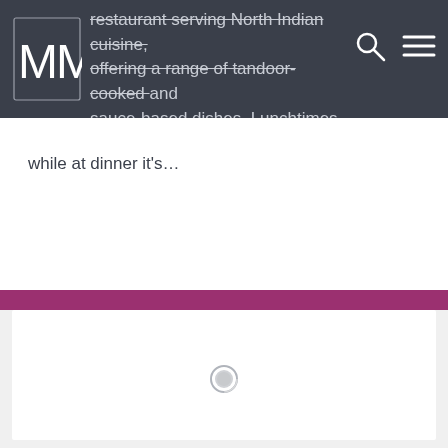restaurant serving North Indian cuisine, offering a range of tandoor-cooked and sauce-based dishes. Lunchtimes are quiet while at dinner it's…
[Figure (logo): Stylized double-M logo in white outline on dark background]
while at dinner it's…
[Figure (photo): Large white/blank content area with a loading spinner circle in the center, below a magenta/pink horizontal divider bar]